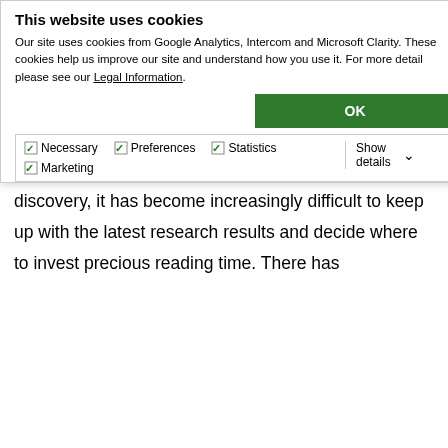This website uses cookies
Our site uses cookies from Google Analytics, Intercom and Microsoft Clarity. These cookies help us improve our site and understand how you use it. For more detail please see our Legal Information.
OK
Necessary  Preferences  Statistics  Marketing  Show details
Rapid Reviews: COVID-19 (RR:C19) and screeni.
Each comes with their own unique approach to evaluating the latest research findings, bringing diverse perspectives to the application.
With the rise in the early dissemination of scientific discovery, it has become increasingly difficult to keep up with the latest research results and decide where to invest precious reading time. There has